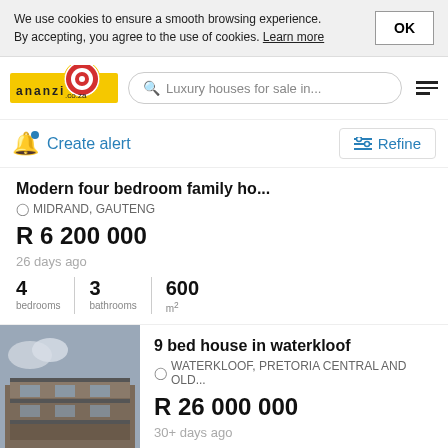We use cookies to ensure a smooth browsing experience. By accepting, you agree to the use of cookies. Learn more
[Figure (logo): Ananzi.co.za logo - yellow background with red target/bullseye icon and 'ananzi.co.za' text]
Luxury houses for sale in...
Create alert
Refine
Modern four bedroom family ho...
MIDRAND, GAUTENG
R 6 200 000
26 days ago
4 bedrooms   3 bathrooms   600 m²
9 bed house in waterkloof
WATERKLOOF, PRETORIA CENTRAL AND OLD...
R 26 000 000
30+ days ago